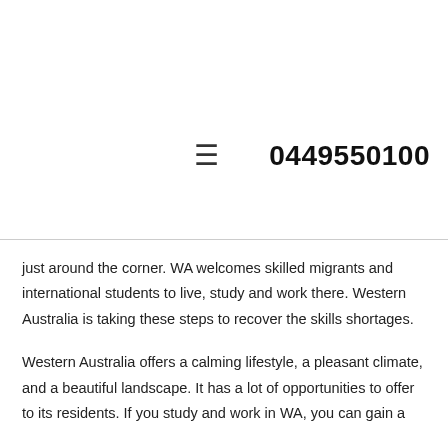0449550100
just around the corner. WA welcomes skilled migrants and international students to live, study and work there. Western Australia is taking these steps to recover the skills shortages.
Western Australia offers a calming lifestyle, a pleasant climate, and a beautiful landscape. It has a lot of opportunities to offer to its residents. If you study and work in WA, you can gain a